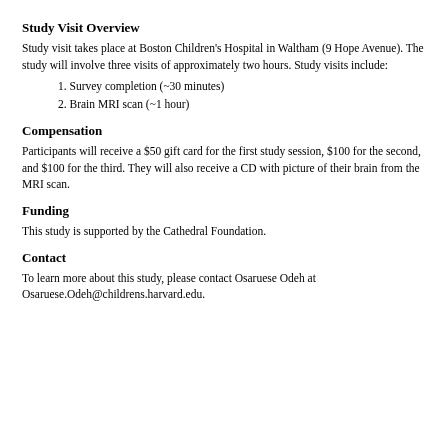Study Visit Overview
Study visit takes place at Boston Children's Hospital in Waltham (9 Hope Avenue). The study will involve three visits of approximately two hours. Study visits include:
1. Survey completion (~30 minutes)
2. Brain MRI scan (~1 hour)
Compensation
Participants will receive a $50 gift card for the first study session, $100 for the second, and $100 for the third. They will also receive a CD with picture of their brain from the MRI scan.
Funding
This study is supported by the Cathedral Foundation.
Contact
To learn more about this study, please contact Osaruese Odeh at Osaruese.Odeh@childrens.harvard.edu.